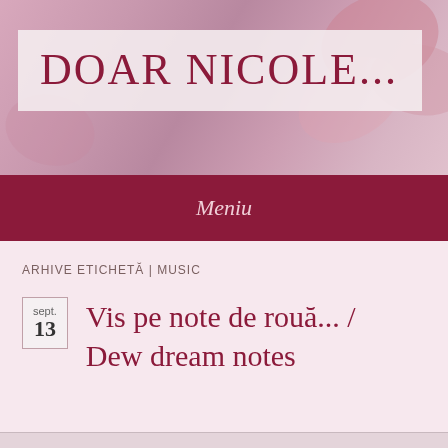[Figure (illustration): Blog header banner with floral/pink background and semi-transparent title box containing 'DOAR NICOLE...' in dark red serif text]
DOAR NICOLE...
Meniu
ARHIVE ETICHETĂ | MUSIC
sept.
13
Vis pe note de rouă... / Dew dream notes
Urmărește ...